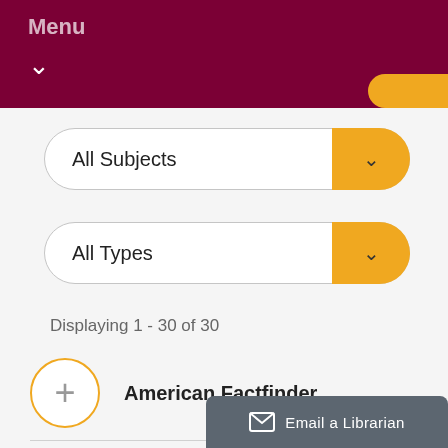Menu
All Subjects
All Types
Displaying 1 - 30 of 30
American Factfinder
CKAN Datahu...
Email a Librarian